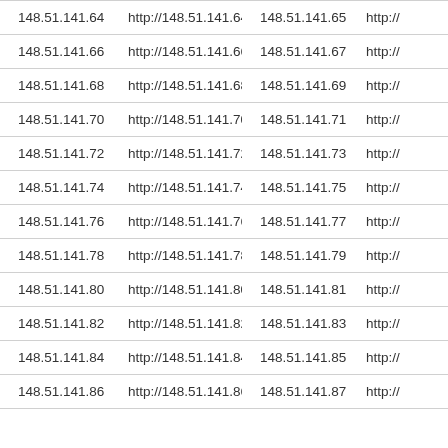| 148.51.141.64 | http://148.51.141.64 | 148.51.141.65 | http:// |
| 148.51.141.66 | http://148.51.141.66 | 148.51.141.67 | http:// |
| 148.51.141.68 | http://148.51.141.68 | 148.51.141.69 | http:// |
| 148.51.141.70 | http://148.51.141.70 | 148.51.141.71 | http:// |
| 148.51.141.72 | http://148.51.141.72 | 148.51.141.73 | http:// |
| 148.51.141.74 | http://148.51.141.74 | 148.51.141.75 | http:// |
| 148.51.141.76 | http://148.51.141.76 | 148.51.141.77 | http:// |
| 148.51.141.78 | http://148.51.141.78 | 148.51.141.79 | http:// |
| 148.51.141.80 | http://148.51.141.80 | 148.51.141.81 | http:// |
| 148.51.141.82 | http://148.51.141.82 | 148.51.141.83 | http:// |
| 148.51.141.84 | http://148.51.141.84 | 148.51.141.85 | http:// |
| 148.51.141.86 | http://148.51.141.86 | 148.51.141.87 | http:// |